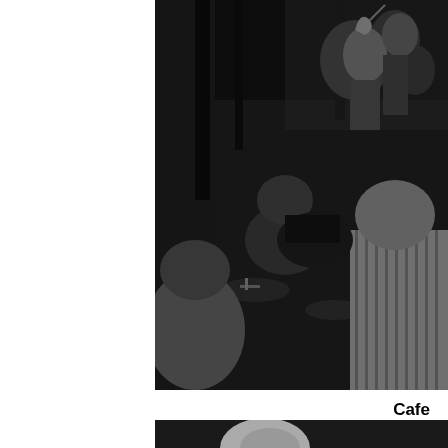[Figure (photo): Black and white photograph of musicians performing and patrons seated at tables inside Cafe Feenjon, The Village, NYC. Several people are visible, musicians playing instruments at the back, audience members in the foreground.]
Cafe
Feenjon, The Village, NYC
Some of the dancers in the first generation of U.S. belly dancers came into prominence in this place and time; Serena, Sabah, Morocco and Najla Ates (a Turkish dancer) made their names working in the NYC clubs.
[Figure (photo): Partial black and white photo visible at the bottom of the page showing the top of a person's head.]